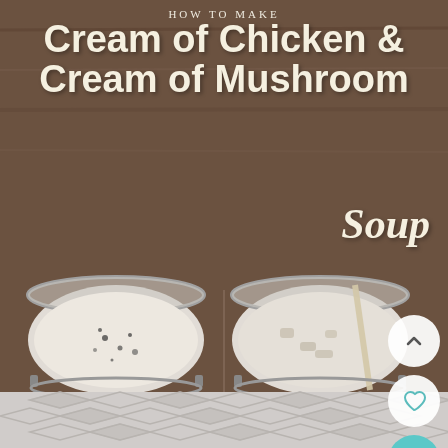[Figure (photo): Recipe image showing two glass mason jars with cream of chicken and cream of mushroom soup on a wooden background. Text overlay reads 'How to Make Cream of Chicken & Cream of Mushroom Soup'. Three UI buttons (chevron up, heart, magnifying glass) on the right side. Bottom has a geometric diamond/chevron pattern in gray.]